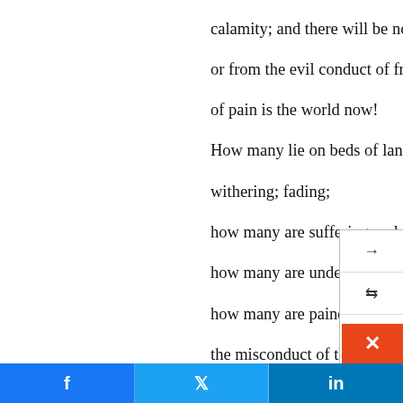calamity; and there will be no mental sorrow arising from or from the evil conduct of friends. And what a change of pain is the world now! How many lie on beds of languishing, that is, being fee withering; fading; how many are suffering under incurable disease how many are undergoing severe surgical opera how many are pained by the loss of property or the misconduct of those who are loved! How different would this world be, if all pain w therefore, must the state of the future be from th Former (first) things have passed away echoes b This is perhaps the most hopeful (for humans) Scriptur Where governments attempt to care for food and shelte PERSONAL.
[Figure (screenshot): UI overlay panel on the right side with navigation icons: arrow, shuffle/repeat icon, up arrow, down arrow, home icon, close (x) button]
[Figure (screenshot): Left side UI overlay with back arrow, horizontal divider, x close button, and second horizontal divider]
[Figure (screenshot): Orange close (x) button in bottom-right corner]
[Figure (screenshot): Social sharing bar at bottom with Facebook (f), Twitter (bird), and LinkedIn (in) buttons]